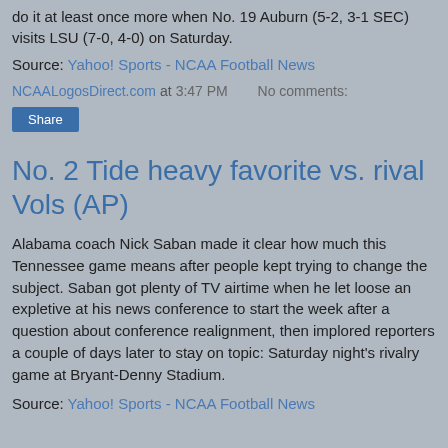do it at least once more when No. 19 Auburn (5-2, 3-1 SEC) visits LSU (7-0, 4-0) on Saturday.
Source: Yahoo! Sports - NCAA Football News
NCAALogosDirect.com at 3:47 PM    No comments:
Share
No. 2 Tide heavy favorite vs. rival Vols (AP)
Alabama coach Nick Saban made it clear how much this Tennessee game means after people kept trying to change the subject. Saban got plenty of TV airtime when he let loose an expletive at his news conference to start the week after a question about conference realignment, then implored reporters a couple of days later to stay on topic: Saturday night's rivalry game at Bryant-Denny Stadium.
Source: Yahoo! Sports - NCAA Football News